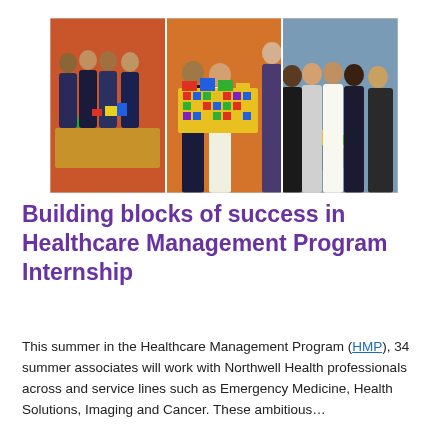[Figure (photo): Group photo of young professionals (summer associates) in business attire posing with colorful LEGO/building block constructions in an office setting. Three panels: left panel shows people leaning over a table with small block structures, center panel shows two people holding a large colorful block creation, right panel shows a group smiling around a table with a block structure.]
Building blocks of success in Healthcare Management Program Internship
This summer in the Healthcare Management Program (HMP), 34 summer associates will work with Northwell Health professionals across and service lines such as Emergency Medicine, Health Solutions, Imaging and Cancer. These ambitious…